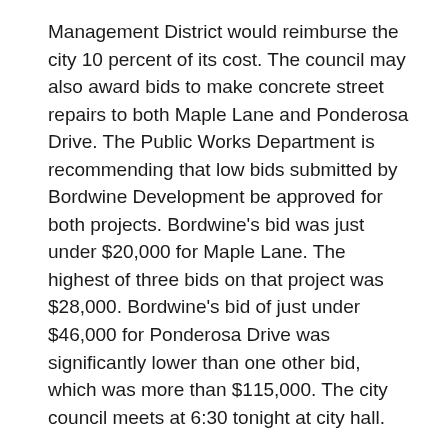Management District would reimburse the city 10 percent of its cost. The council may also award bids to make concrete street repairs to both Maple Lane and Ponderosa Drive. The Public Works Department is recommending that low bids submitted by Bordwine Development be approved for both projects. Bordwine's bid was just under $20,000 for Maple Lane. The highest of three bids on that project was $28,000. Bordwine's bid of just under $46,000 for Ponderosa Drive was significantly lower than one other bid, which was more than $115,000. The city council meets at 6:30 tonight at city hall.
Stephens County OK'd for FEMA Help
Stephens County is one of several areas approved for federal help to clean up from spring storms. 18 Oklahoma counties were approved for FEMA assistance to help city, county, and state governments